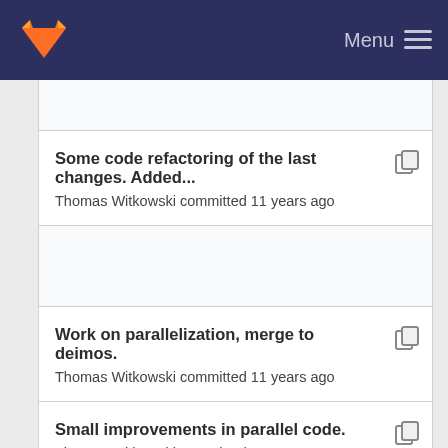[Figure (logo): GitLab fox logo in orange/red on dark navy navbar]
Menu
Some code refactoring of the last changes. Added...
Thomas Witkowski committed 11 years ago
Work on parallelization, merge to deimos.
Thomas Witkowski committed 11 years ago
Small improvements in parallel code.
Thomas Witkowski committed 11 years ago